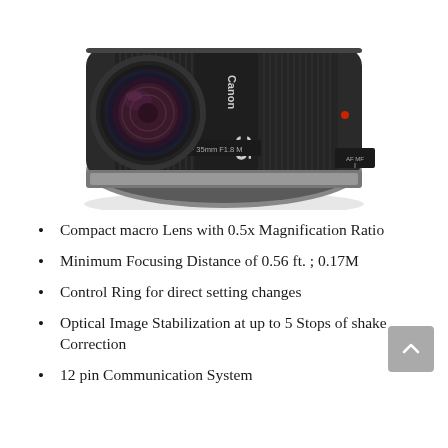[Figure (photo): Canon RF 35mm F1.8 Macro lens, black, shown from a front-top angle. The lens barrel shows knurled focus ring, AF/MF switch, and Canon and '35' branding.]
Compact macro Lens with 0.5x Magnification Ratio
Minimum Focusing Distance of 0.56 ft. ; 0.17M
Control Ring for direct setting changes
Optical Image Stabilization at up to 5 Stops of shake Correction
12 pin Communication System